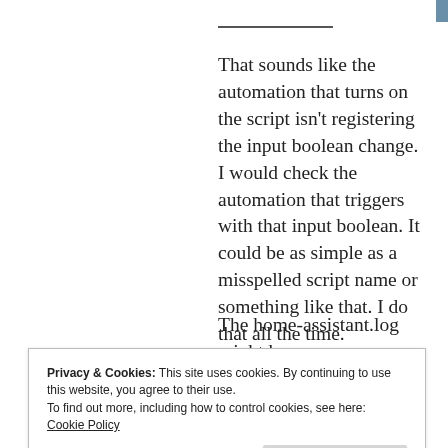[Figure (photo): Small thumbnail image at top, partially visible]
That sounds like the automation that turns on the script isn't registering the input boolean change. I would check the automation that triggers with that input boolean. It could be as simple as a misspelled script name or something like that. I do that all the time.
The home-assistant.log might have
Privacy & Cookies: This site uses cookies. By continuing to use this website, you agree to their use.
To find out more, including how to control cookies, see here:
Cookie Policy
Close and accept
ick…